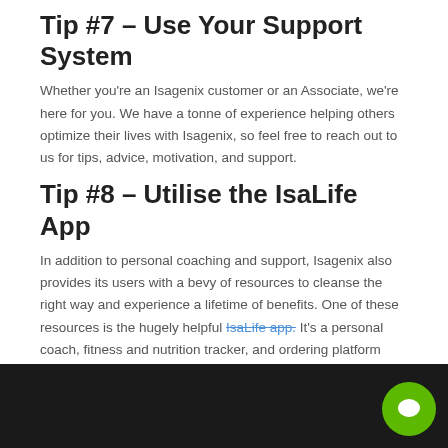Tip #7 – Use Your Support System
Whether you're an Isagenix customer or an Associate, we're here for you. We have a tonne of experience helping others optimize their lives with Isagenix, so feel free to reach out to us for tips, advice, motivation, and support.
Tip #8 – Utilise the IsaLife App
In addition to personal coaching and support, Isagenix also provides its users with a bevy of resources to cleanse the right way and experience a lifetime of benefits. One of these resources is the hugely helpful IsaLife app. It's a personal coach, fitness and nutrition tracker, and ordering platform wrapped up into one easy-to-use app!
[Figure (photo): Dark/black rectangular image block at the bottom of the page with a green circular chat bubble icon in the bottom right corner.]